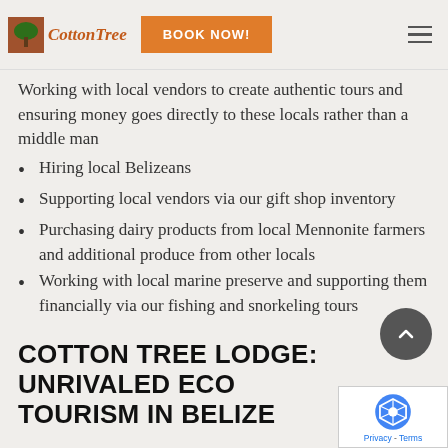Cotton Tree Logo | BOOK NOW! | menu
release fishing practices. Working with local vendors to create authentic tours and ensuring money goes directly to these locals rather than a middle man
Hiring local Belizeans
Supporting local vendors via our gift shop inventory
Purchasing dairy products from local Mennonite farmers and additional produce from other locals
Working with local marine preserve and supporting them financially via our fishing and snorkeling tours
COTTON TREE LODGE: UNRIVALED ECO TOURISM IN BELIZE